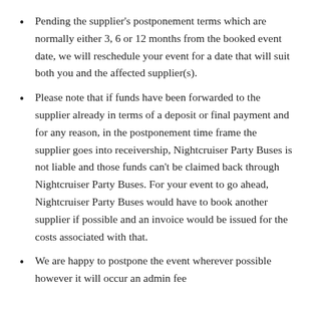Pending the supplier's postponement terms which are normally either 3, 6 or 12 months from the booked event date, we will reschedule your event for a date that will suit both you and the affected supplier(s).
Please note that if funds have been forwarded to the supplier already in terms of a deposit or final payment and for any reason, in the postponement time frame the supplier goes into receivership, Nightcruiser Party Buses is not liable and those funds can't be claimed back through Nightcruiser Party Buses. For your event to go ahead, Nightcruiser Party Buses would have to book another supplier if possible and an invoice would be issued for the costs associated with that.
We are happy to postpone the event wherever possible however it will occur an admin fee